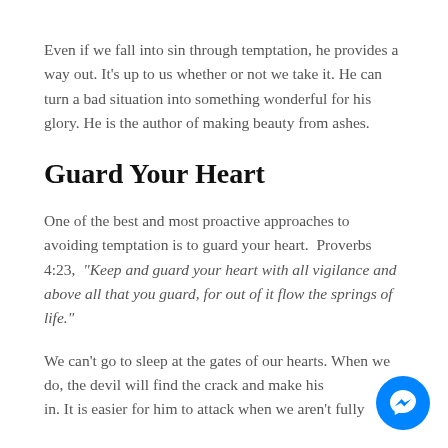Even if we fall into sin through temptation, he provides a way out. It's up to us whether or not we take it. He can turn a bad situation into something wonderful for his glory. He is the author of making beauty from ashes.
Guard Your Heart
One of the best and most proactive approaches to avoiding temptation is to guard your heart.  Proverbs 4:23,  "Keep and guard your heart with all vigilance and above all that you guard, for out of it flow the springs of life."
We can't go to sleep at the gates of our hearts. When we do, the devil will find the crack and make his in. It is easier for him to attack when we aren't fully